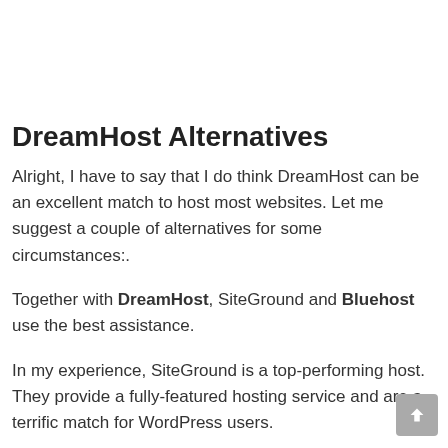DreamHost Alternatives
Alright, I have to say that I do think DreamHost can be an excellent match to host most websites. Let me suggest a couple of alternatives for some circumstances:.
Together with DreamHost, SiteGround and Bluehost use the best assistance.
In my experience, SiteGround is a top-performing host. They provide a fully-featured hosting service and are a terrific match for WordPress users.